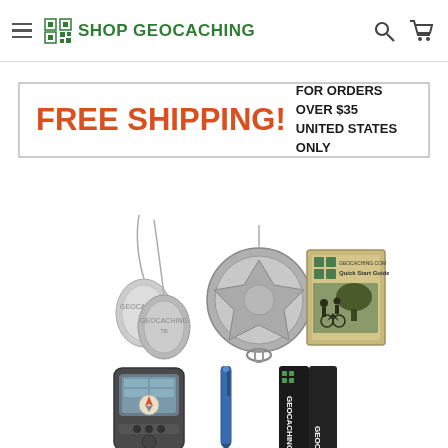SHOP GEOCACHING
[Figure (infographic): Free Shipping banner: FREE SHIPPING! FOR ORDERS OVER $35 UNITED STATES ONLY]
[Figure (photo): Geocaching product photo showing dog tag keychains, a coin/medallion keychain, and a Quick Start Guide card]
[Figure (photo): Geocaching product photo showing a Garmin GPS device, a blue pen, and a black GEOCACHING lanyard]